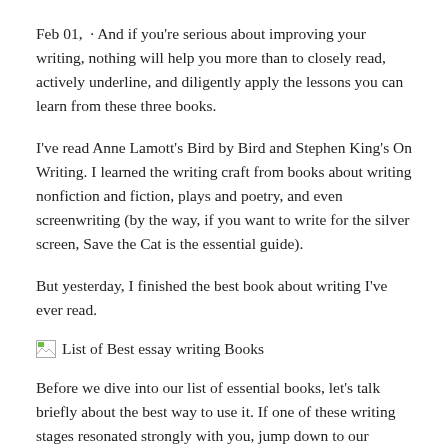Feb 01,  · And if you're serious about improving your writing, nothing will help you more than to closely read, actively underline, and diligently apply the lessons you can learn from these three books.
I've read Anne Lamott's Bird by Bird and Stephen King's On Writing. I learned the writing craft from books about writing nonfiction and fiction, plays and poetry, and even screenwriting (by the way, if you want to write for the silver screen, Save the Cat is the essential guide).
But yesterday, I finished the best book about writing I've ever read.
[Figure (illustration): Small broken image icon followed by text 'List of Best essay writing Books']
Before we dive into our list of essential books, let's talk briefly about the best way to use it. If one of these writing stages resonated strongly with you, jump down to our favorites in the three categories below and start there.